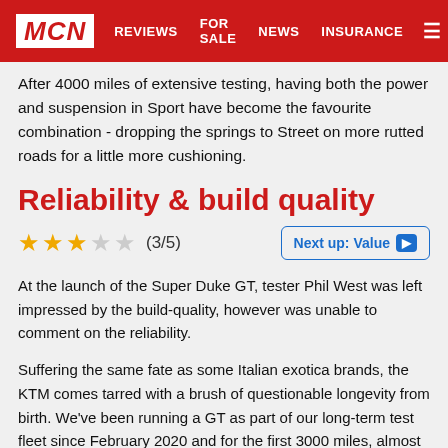MCN  REVIEWS  FOR SALE  NEWS  INSURANCE
After 4000 miles of extensive testing, having both the power and suspension in Sport have become the favourite combination - dropping the springs to Street on more rutted roads for a little more cushioning.
Reliability & build quality
★★★☆☆ (3/5)   Next up: Value ▶
At the launch of the Super Duke GT, tester Phil West was left impressed by the build-quality, however was unable to comment on the reliability.
Suffering the same fate as some Italian exotica brands, the KTM comes tarred with a brush of questionable longevity from birth. We've been running a GT as part of our long-term test fleet since February 2020 and for the first 3000 miles, almost all negative allegations proved false - barring a couple of phantom warning lights.